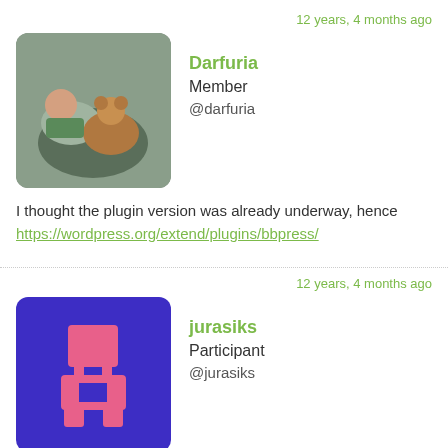12 years, 4 months ago
[Figure (photo): Avatar of Darfuria: person lying with a teddy bear]
Darfuria
Member
@darfuria
I thought the plugin version was already underway, hence https://wordpress.org/extend/plugins/bbpress/
12 years, 4 months ago
[Figure (logo): Avatar of jurasiks: purple rounded square with pink pixel art character]
jurasiks
Participant
@jurasiks
It's good to see people, who liked bbPress.

I was on some GSOC channel in IRC, some guys told me that: they decided to make bbPress like WP plugin.

But WHO and WHY – i don't know. So, like chrishajer said: "impossible to kill open-source project".

We will keep bbPress fork as standalone, but now i need to ask admins of